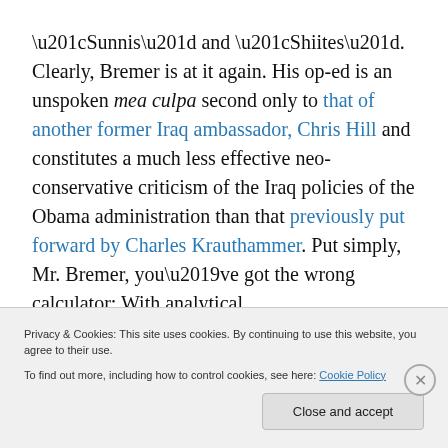“Sunnis” and “Shiites”. Clearly, Bremer is at it again. His op-ed is an unspoken mea culpa second only to that of another former Iraq ambassador, Chris Hill and constitutes a much less effective neo-conservative criticism of the Iraq policies of the Obama administration than that previously put forward by Charles Krauthammer. Put simply, Mr. Bremer, you’ve got the wrong calculator: With analytical
Privacy & Cookies: This site uses cookies. By continuing to use this website, you agree to their use.
To find out more, including how to control cookies, see here: Cookie Policy